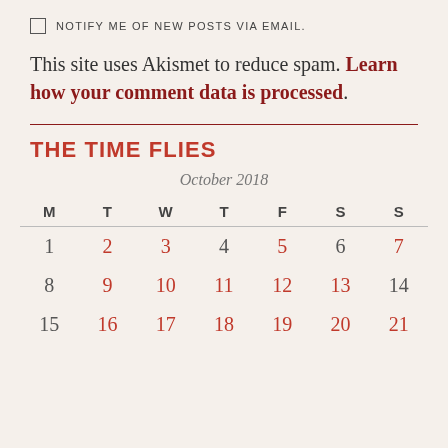NOTIFY ME OF NEW POSTS VIA EMAIL.
This site uses Akismet to reduce spam. Learn how your comment data is processed.
THE TIME FLIES
| M | T | W | T | F | S | S |
| --- | --- | --- | --- | --- | --- | --- |
| 1 | 2 | 3 | 4 | 5 | 6 | 7 |
| 8 | 9 | 10 | 11 | 12 | 13 | 14 |
| 15 | 16 | 17 | 18 | 19 | 20 | 21 |